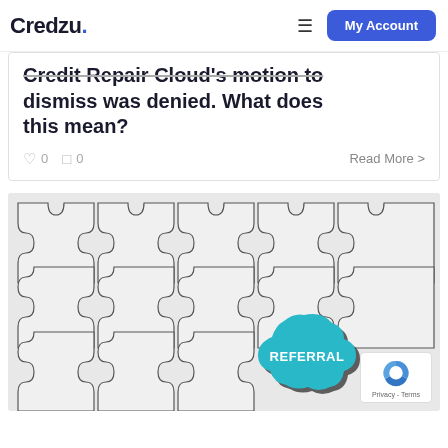Credzu. ≡ My Account
Credit Repair Cloud's motion to dismiss was denied. What does this mean?
♡ 0   □ 0   Read More >
[Figure (photo): White puzzle pieces with one blue puzzle piece labeled REFERRAL in the lower right area. reCAPTCHA badge with Privacy - Terms visible in bottom right corner.]